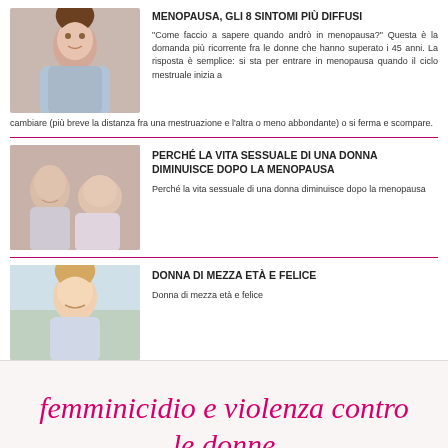MENOPAUSA, GLI 8 SINTOMI PIÙ DIFFUSI
"Come faccio a sapere quando andrò in menopausa?" Questa è la domanda più ricorrente fra le donne che hanno superato i 45 anni. La risposta è semplice: si sta per entrare in menopausa quando il ciclo mestruale inizia a cambiare (più breve la distanza fra una mestruazione e l'altra o meno abbondante) o si ferma e scompare.
PERCHÉ LA VITA SESSUALE DI UNA DONNA DIMINUISCE DOPO LA MENOPAUSA
Perché la vita sessuale di una donna diminuisce dopo la menopausa
DONNA DI MEZZA ETÀ E FELICE
Donna di mezza età e felice
femminicidio e violenza contro le donne